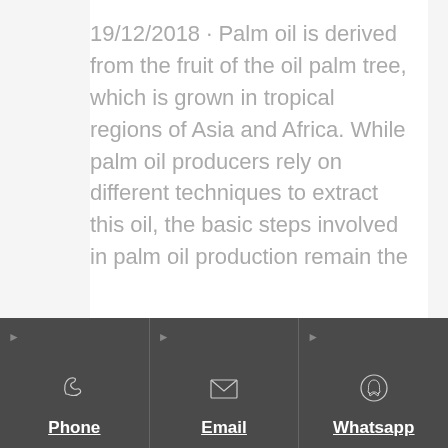19/12/2018 · Palm oil is derived from the fruit of the oil palm tree, which is grown in tropical regions of Asia and Africa. While palm oil producers rely on different techniques to extract this oil, the basic steps involved in palm oil production remain the
Send Inquiry
Phone | Email | Whatsapp